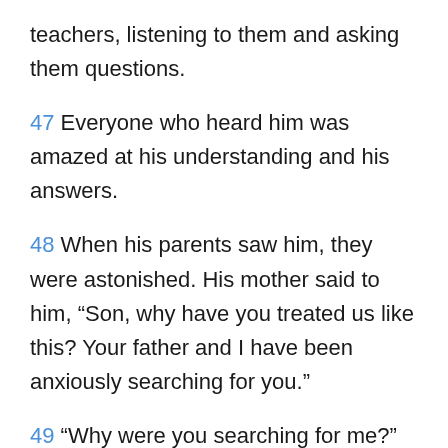teachers, listening to them and asking them questions.
47 Everyone who heard him was amazed at his understanding and his answers.
48 When his parents saw him, they were astonished. His mother said to him, “Son, why have you treated us like this? Your father and I have been anxiously searching for you.”
49 “Why were you searching for me?” he asked. “Didn’t you know I had to be in my Father’s house?”